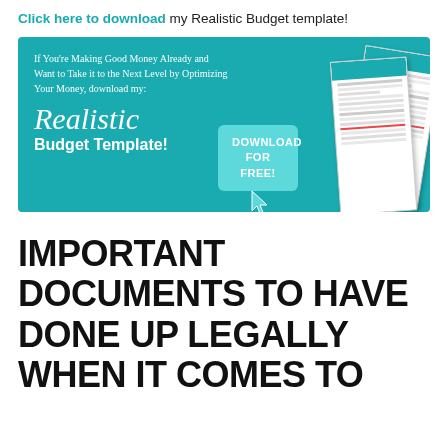Click here to download my Realistic Budget template!
[Figure (infographic): Teal banner advertisement for a Realistic Budget Template download. Left side has white text: 'If You're Making Good Money Already and Want to Take it to the Next Level by Optimizing Your Money, download my:' followed by cursive 'Realistic' and bold 'Budget Template!' text. Center has a teal 'DOWNLOAD FOR FREE!' button with cursor icon. Right side shows spreadsheet document images.]
IMPORTANT DOCUMENTS TO HAVE DONE UP LEGALLY WHEN IT COMES TO